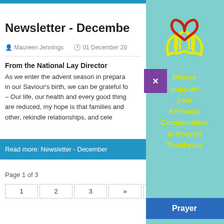Newsletter - December
Maureen Jennings   01 December 20
From the National Lay Director
As we enter the advent season in prepara... in our Saviour's birth, we can be grateful fo... – Our life, our health and every good thing... are reduced, my hope is that families and... other, rekindle relationships, and cele...
Read more: Newsletter - December
Page 1 of 3
[Figure (illustration): Heart held in two hands icon, red heart outline with yellow hands, on teal background]
Please support your Emmaus Communities in Prayer! Thankyou.
Prayer